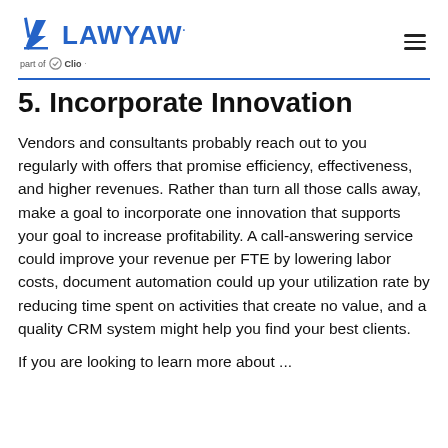LAWYAW part of Clio
5. Incorporate Innovation
Vendors and consultants probably reach out to you regularly with offers that promise efficiency, effectiveness, and higher revenues. Rather than turn all those calls away, make a goal to incorporate one innovation that supports your goal to increase profitability. A call-answering service could improve your revenue per FTE by lowering labor costs, document automation could up your utilization rate by reducing time spent on activities that create no value, and a quality CRM system might help you find your best clients.
If you are looking to learn more about ...